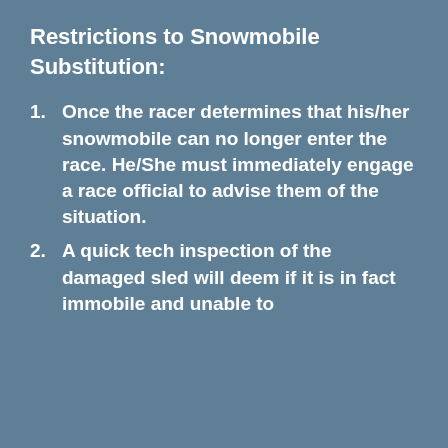Restrictions to Snowmobile Substitution:
Once the racer determines that his/her snowmobile can no longer enter the race. He/She must immediately engage a race official to advise them of the situation.
A quick tech inspection of the damaged sled will deem if it is in fact immobile and unable to